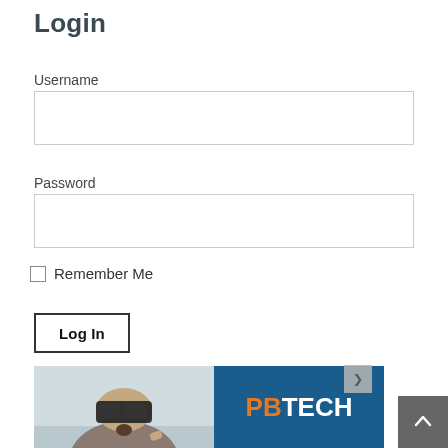Login
Username
Password
Remember Me
Log In
Forgot Password
[Figure (screenshot): Advertisement banner at the bottom of the page showing a person wearing a VR headset on the left side and the PBTECH logo on a dark blue background on the right side, with a small close button and a scroll-to-top arrow button.]